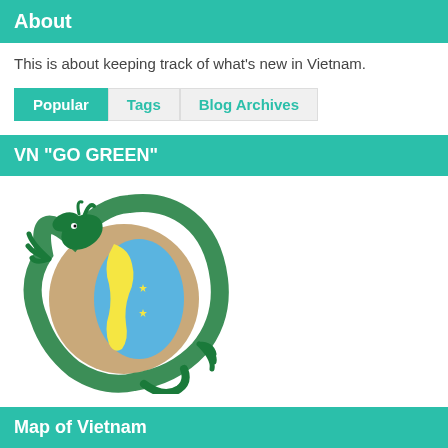About
This is about keeping track of what's new in Vietnam.
Popular | Tags | Blog Archives
VN "GO GREEN"
[Figure (logo): Green dragon wrapping around a globe showing a map of Vietnam in yellow, with blue sea areas and small stars]
Linked to YouTube Channel
Powered by Blogger.
Map of Vietnam